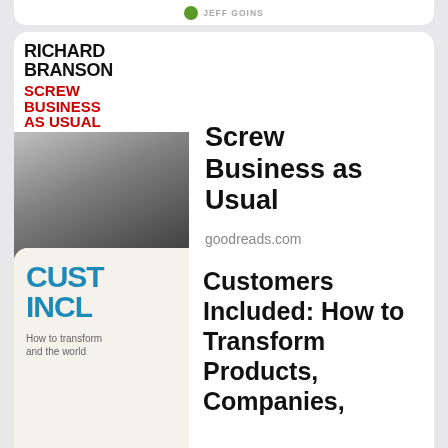[Figure (other): Partial book card at top - Jeff Goins book, only bottom portion visible]
[Figure (other): Book card: Screw Business as Usual by Richard Branson, with book cover image showing author name in black bold and SCREW BUSINESS AS USUAL in red, plus black and white photo of Branson]
Screw Business as Usual
goodreads.com
Chaos Monkeys
openlibrary.org
[Figure (other): Book card: Customers Included: How to Transform Products, Companies, with cover showing CUST INCL in large blue text and subtitle How to transform and the world]
Customers Included: How to Transform Products, Companies,